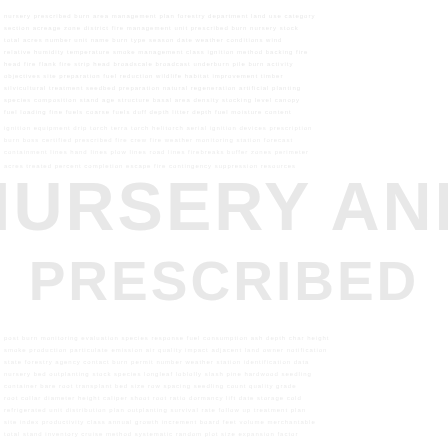[Figure (other): A nearly blank white page with very faint light gray watermark text reading 'NURSERY AND PRESCRIBED' in large bold letters across the center, surrounded by multiple rows of faint small gray text forming a background texture pattern.]